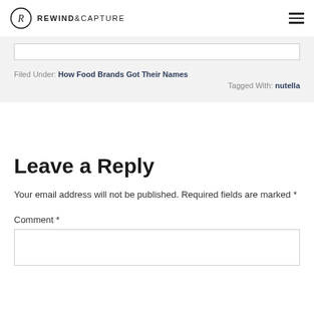REWIND&CAPTURE
Filed Under: How Food Brands Got Their Names
Tagged With: nutella
Leave a Reply
Your email address will not be published. Required fields are marked *
Comment *